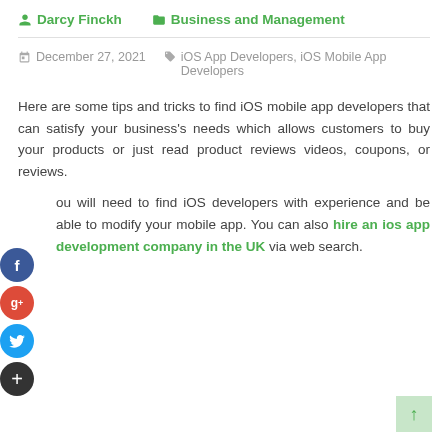Darcy Finckh   Business and Management
December 27, 2021   iOS App Developers, iOS Mobile App Developers
Here are some tips and tricks to find iOS mobile app developers that can satisfy your business's needs which allows customers to buy your products or just read product reviews videos, coupons, or reviews.
You will need to find iOS developers with experience and be able to modify your mobile app. You can also hire an ios app development company in the UK via web search.